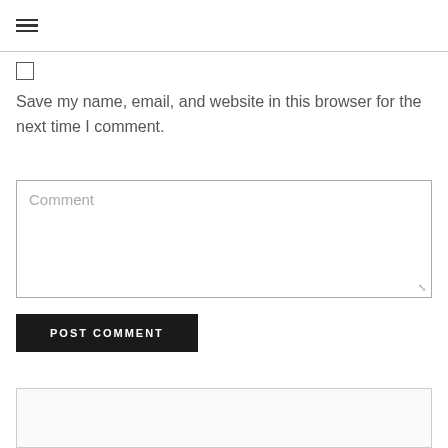☰
[Figure (other): Unchecked checkbox]
Save my name, email, and website in this browser for the next time I comment.
Comment (placeholder text in textarea)
POST COMMENT